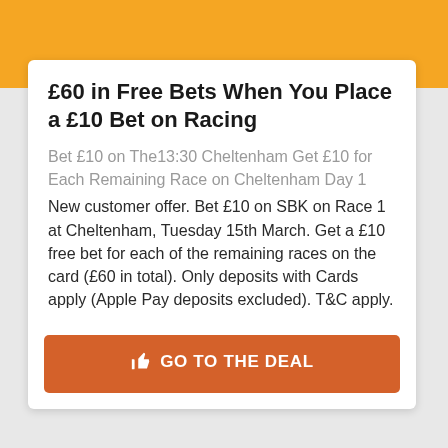£60 in Free Bets When You Place a £10 Bet on Racing
Bet £10 on The13:30 Cheltenham Get £10 for Each Remaining Race on Cheltenham Day 1
New customer offer. Bet £10 on SBK on Race 1 at Cheltenham, Tuesday 15th March. Get a £10 free bet for each of the remaining races on the card (£60 in total). Only deposits with Cards apply (Apple Pay deposits excluded). T&C apply.
GO TO THE DEAL